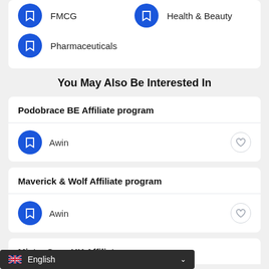FMCG
Health & Beauty
Pharmaceuticals
You May Also Be Interested In
Podobrace BE Affiliate program
Awin
Maverick & Wolf Affiliate program
Awin
Mister Spex UK Affiliate program